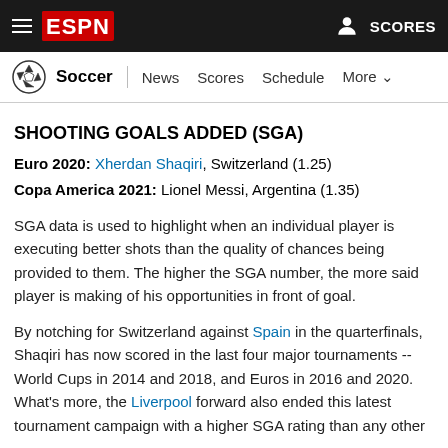ESPN - Soccer | News Scores Schedule More
SHOOTING GOALS ADDED (SGA)
Euro 2020: Xherdan Shaqiri, Switzerland (1.25)
Copa America 2021: Lionel Messi, Argentina (1.35)
SGA data is used to highlight when an individual player is executing better shots than the quality of chances being provided to them. The higher the SGA number, the more said player is making of his opportunities in front of goal.
By notching for Switzerland against Spain in the quarterfinals, Shaqiri has now scored in the last four major tournaments -- World Cups in 2014 and 2018, and Euros in 2016 and 2020. What's more, the Liverpool forward also ended this latest tournament campaign with a higher SGA rating than any other